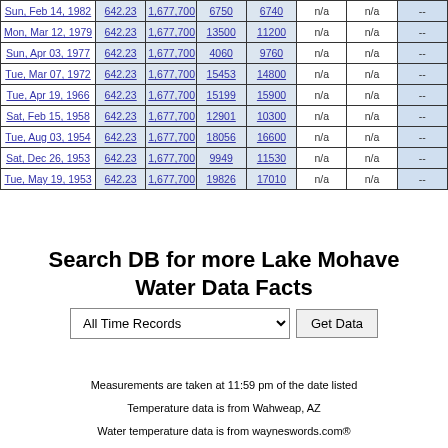| Date |  |  |  |  | n/a | n/a | -- |
| --- | --- | --- | --- | --- | --- | --- | --- |
| Sun, Feb 14, 1982 | 642.23 | 1,677,700 | 6750 | 6740 | n/a | n/a | -- |
| Mon, Mar 12, 1979 | 642.23 | 1,677,700 | 13500 | 11200 | n/a | n/a | -- |
| Sun, Apr 03, 1977 | 642.23 | 1,677,700 | 4060 | 9760 | n/a | n/a | -- |
| Tue, Mar 07, 1972 | 642.23 | 1,677,700 | 15453 | 14800 | n/a | n/a | -- |
| Tue, Apr 19, 1966 | 642.23 | 1,677,700 | 15199 | 15900 | n/a | n/a | -- |
| Sat, Feb 15, 1958 | 642.23 | 1,677,700 | 12901 | 10300 | n/a | n/a | -- |
| Tue, Aug 03, 1954 | 642.23 | 1,677,700 | 18056 | 16600 | n/a | n/a | -- |
| Sat, Dec 26, 1953 | 642.23 | 1,677,700 | 9949 | 11530 | n/a | n/a | -- |
| Tue, May 19, 1953 | 642.23 | 1,677,700 | 19826 | 17010 | n/a | n/a | -- |
Search DB for more Lake Mohave Water Data Facts
All Time Records
Measurements are taken at 11:59 pm of the date listed
Temperature data is from Wahweap, AZ
Water temperature data is from wayneswords.com®
CHANGE...